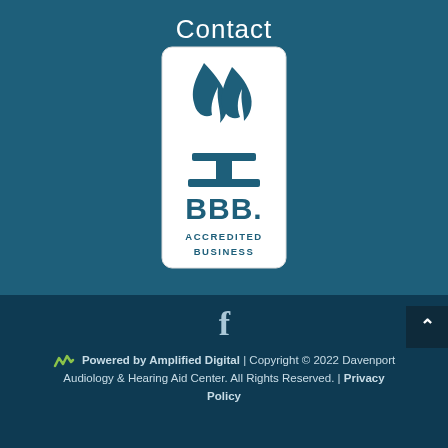Contact
[Figure (logo): BBB Accredited Business logo — white rounded rectangle with blue torch flame shapes, BBB lettering, and 'ACCREDITED BUSINESS' text at bottom]
[Figure (other): Facebook social media icon (letter f)]
Powered by Amplified Digital | Copyright © 2022 Davenport Audiology & Hearing Aid Center. All Rights Reserved. | Privacy Policy